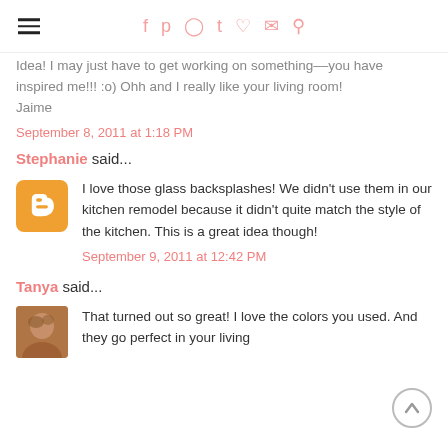Navigation header with hamburger menu and social icons
Idea! I may just have to get working on something––you have inspired me!!! :o) Ohh and I really like your living room!
Jaime
September 8, 2011 at 1:18 PM
Stephanie said...
I love those glass backsplashes! We didn't use them in our kitchen remodel because it didn't quite match the style of the kitchen. This is a great idea though!
September 9, 2011 at 12:42 PM
Tanya said...
That turned out so great! I love the colors you used. And they go perfect in your living